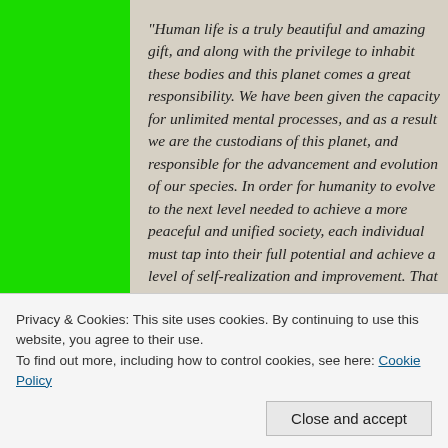“Human life is a truly beautiful and amazing gift, and along with the privilege to inhabit these bodies and this planet comes a great responsibility. We have been given the capacity for unlimited mental processes, and as a result we are the custodians of this planet, and responsible for the advancement and evolution of our species. In order for humanity to evolve to the next level needed to achieve a more peaceful and unified society, each individual must tap into their full potential and achieve a level of self-realization and improvement. That is the ultimate key to creating a better world.” –Mark Matus
All I can do is continue to try and push love through every open eye and pair of ears that will listen. I encourage you to be kind. I encourage you to see the negative and hate-filled things you will encounter everyday and if you cannot stop it from happening, walk away. Being a part of hate is the same as the beginning of it.
Privacy & Cookies: This site uses cookies. By continuing to use this website, you agree to their use.
To find out more, including how to control cookies, see here: Cookie Policy